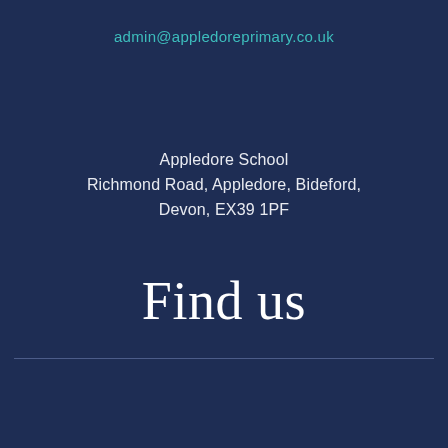admin@appledoreprimary.co.uk
Appledore School
Richmond Road, Appledore, Bideford,
Devon, EX39 1PF
Find us